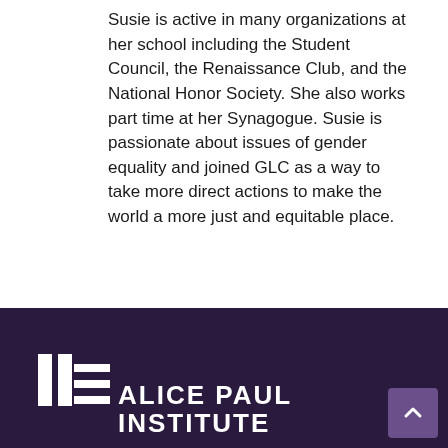Susie is active in many organizations at her school including the Student Council, the Renaissance Club, and the National Honor Society. She also works part time at her Synagogue. Susie is passionate about issues of gender equality and joined GLC as a way to take more direct actions to make the world a more just and equitable place.
[Figure (logo): Alice Paul Institute logo with vertical bar icon and text 'ALICE PAUL INSTITUTE' in white on dark purple background, with a scroll-to-top button in the bottom right corner.]